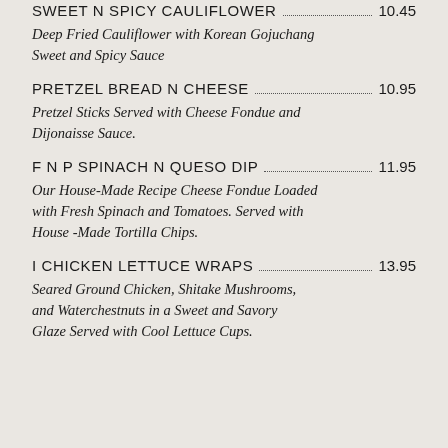SWEET N SPICY CAULIFLOWER  10.45
Deep Fried Cauliflower with Korean Gojuchang Sweet and Spicy Sauce
PRETZEL BREAD N CHEESE  10.95
Pretzel Sticks Served with Cheese Fondue and Dijonaisse Sauce.
F N P SPINACH N QUESO DIP  11.95
Our House-Made Recipe Cheese Fondue Loaded with Fresh Spinach and Tomatoes. Served with House -Made Tortilla Chips.
I CHICKEN LETTUCE WRAPS  13.95
Seared Ground Chicken, Shitake Mushrooms, and Waterchestnuts in a Sweet and Savory Glaze Served with Cool Lettuce Cups.